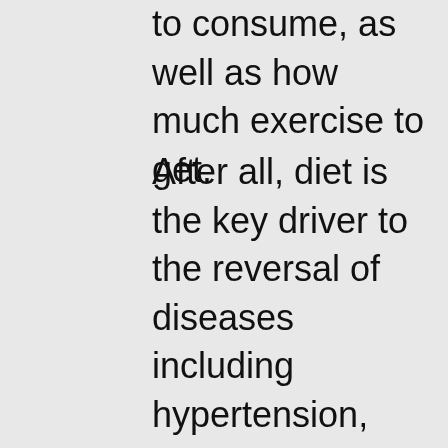to consume, as well as how much exercise to get.
After all, diet is the key driver to the reversal of diseases including hypertension, heart disease, and chronic diseases in general including diabetes. Premature deaths are preventable with simple changes in diet. The key is